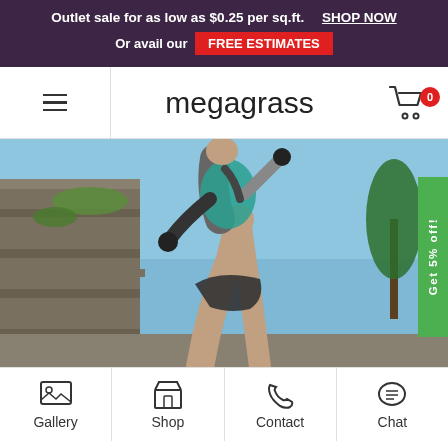Outlet sale for as low as $0.25 per sq.ft.  SHOP NOW
Or avail our FREE ESTIMATES
megagrass
[Figure (photo): Low-angle action photo of a person running outdoors near a stone wall with trees and blue sky in the background.]
Gallery  Shop  Contact  Chat